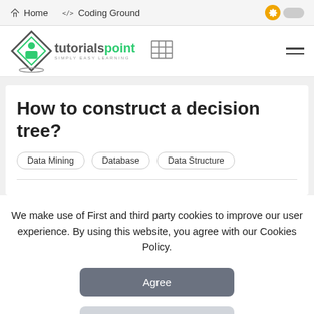Home   </> Coding Ground
[Figure (logo): Tutorialspoint logo — diamond shape with book/figure icon, text 'tutorialspoint SIMPLY EASY LEARNING']
How to construct a decision tree?
Data Mining
Database
Data Structure
We make use of First and third party cookies to improve our user experience. By using this website, you agree with our Cookies Policy.
Agree
Learn more